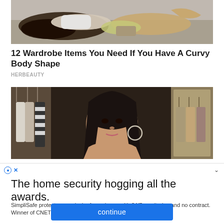[Figure (photo): Two women lying down outdoors, fashion photo]
12 Wardrobe Items You Need If You Have A Curvy Body Shape
HERBEAUTY
[Figure (photo): Young woman with long dark hair and hoop earrings, standing in a clothing store/closet]
The home security hogging all the awards.
SimpliSafe protects every inch of your home with 24/7 monitoring and no contract. Winner of CNET Editors' Choice (3/2018). Prote...
continue